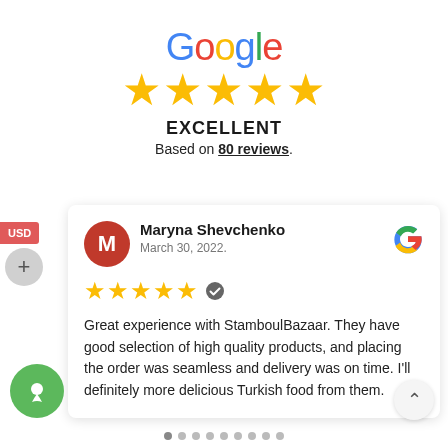[Figure (logo): Google logo in multicolor letters]
[Figure (other): Five gold stars rating]
EXCELLENT
Based on 80 reviews.
Maryna Shevchenko
March 30, 2022.
[Figure (other): Five gold stars with verified badge]
Great experience with StamboulBazaar. They have good selection of high quality products, and placing the order was seamless and delivery was on time. I'll definitely more delicious Turkish food from them.